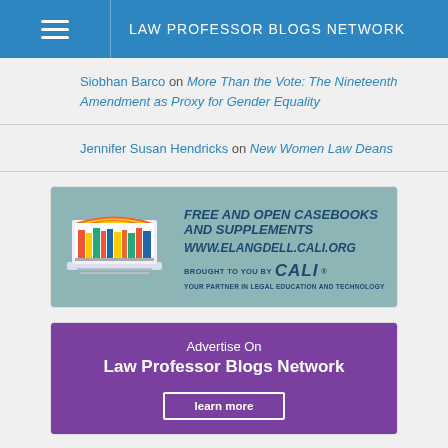LAW PROFESSOR BLOGS NETWORK
Siobhan Barco on More Than the Vote: The Nineteenth Amendment as Proxy for Gender Equality
Jennifer Susan Hendricks on New Women Law Deans
[Figure (infographic): CALI eLangdell advertisement: FREE AND OPEN CASEBOOKS AND SUPPLEMENTS. WWW.ELANGDELL.CALI.ORG. BROUGHT TO YOU BY CALI. YOUR PARTNER IN LEGAL EDUCATION AND TECHNOLOGY. Laptop with bookstore graphic.]
[Figure (infographic): Law Professor Blogs Network advertisement: Advertise On Law Professor Blogs Network. learn more button.]